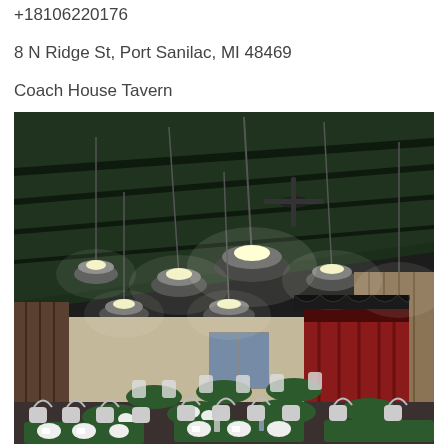+18106220176
8 N Ridge St, Port Sanilac, MI 48469
Coach House Tavern
[Figure (photo): Interior of Coach House Tavern showing a large dining hall with dark green ceiling, multiple pendant lights hanging from the ceiling, round tables set with white dishes and cups, and white metal chairs. A red curtained stage area is visible in the background.]